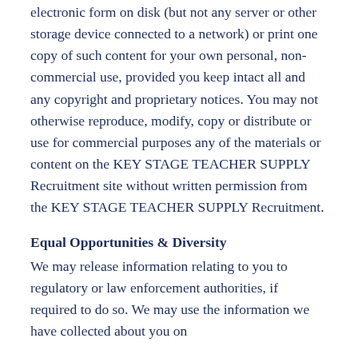electronic form on disk (but not any server or other storage device connected to a network) or print one copy of such content for your own personal, non-commercial use, provided you keep intact all and any copyright and proprietary notices. You may not otherwise reproduce, modify, copy or distribute or use for commercial purposes any of the materials or content on the KEY STAGE TEACHER SUPPLY Recruitment site without written permission from the KEY STAGE TEACHER SUPPLY Recruitment.
Equal Opportunities & Diversity
We may release information relating to you to regulatory or law enforcement authorities, if required to do so. We may use the information we have collected about you on